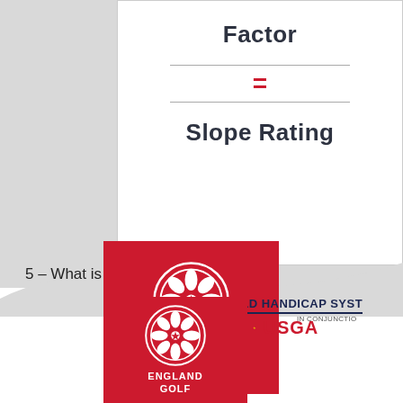Factor
=
Slope Rating
[Figure (logo): England Golf red logo with rose emblem, top instance]
WORLD HANDICAP SYSTEM
R&A  USGA
5 – What is Handicap Index?
[Figure (logo): England Golf red logo with rose emblem, bottom instance]
IN CONJUNCTION
KNOW THE SCORE
WORLD HANDICAP R&A U